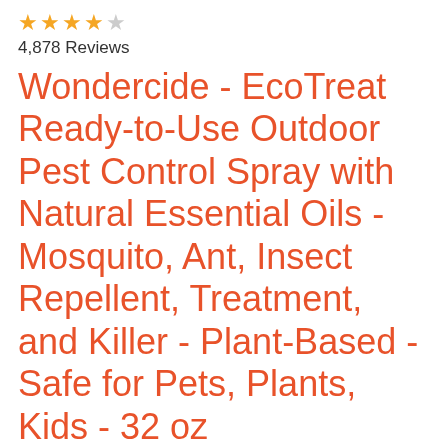[Figure (other): Star rating row: 4 gold stars and 1 gray star]
4,878 Reviews
Wondercide - EcoTreat Ready-to-Use Outdoor Pest Control Spray with Natural Essential Oils - Mosquito, Ant, Insect Repellent, Treatment, and Killer - Plant-Based - Safe for Pets, Plants, Kids - 32 oz
KILLS & REPELS. A preventative and a treatment, this spray is a